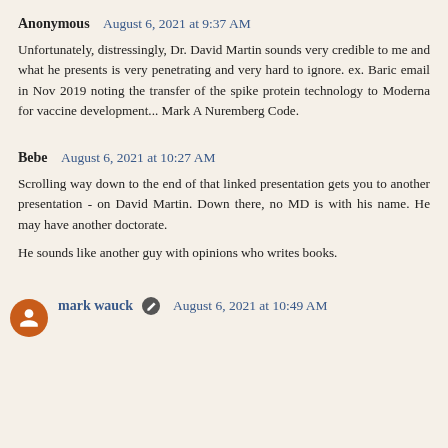Anonymous  August 6, 2021 at 9:37 AM
Unfortunately, distressingly, Dr. David Martin sounds very credible to me and what he presents is very penetrating and very hard to ignore. ex. Baric email in Nov 2019 noting the transfer of the spike protein technology to Moderna for vaccine development... Mark A Nuremberg Code.
Bebe  August 6, 2021 at 10:27 AM
Scrolling way down to the end of that linked presentation gets you to another presentation - on David Martin. Down there, no MD is with his name. He may have another doctorate.
He sounds like another guy with opinions who writes books.
mark wauck  August 6, 2021 at 10:49 AM